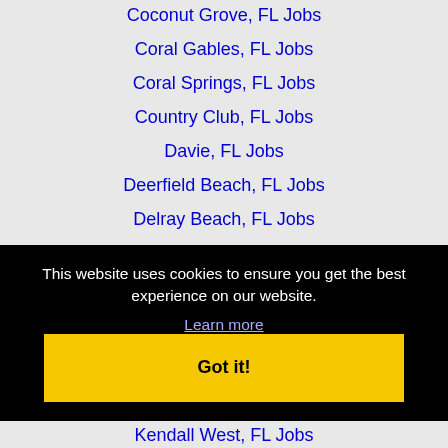Coconut Grove, FL Jobs
Coral Gables, FL Jobs
Coral Springs, FL Jobs
Country Club, FL Jobs
Davie, FL Jobs
Deerfield Beach, FL Jobs
Delray Beach, FL Jobs
Doral, FL Jobs
Fort Lauderdale, FL Jobs
This website uses cookies to ensure you get the best experience on our website.
Learn more
Got it!
Kendall West, FL Jobs